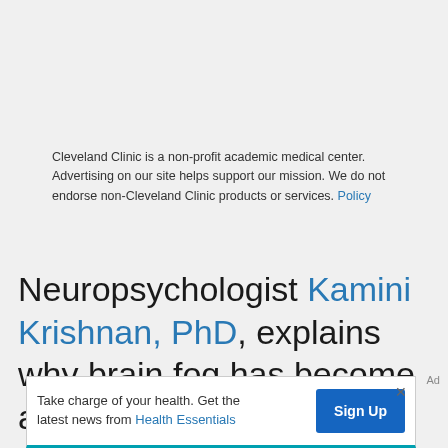Cleveland Clinic is a non-profit academic medical center. Advertising on our site helps support our mission. We do not endorse non-Cleveland Clinic products or services. Policy
Neuropsychologist Kamini Krishnan, PhD, explains why brain fog has become a popular term of the moment and why brain fog may happen as a symptom of other common
Ad
Take charge of your health. Get the latest news from Health Essentials Sign Up